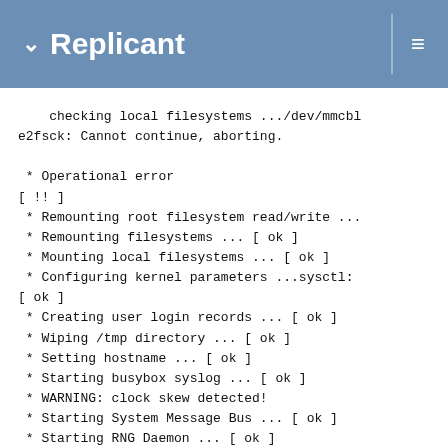Replicant
checking local filesystems .../dev/mmcblk0: e2fsck: Cannot continue, aborting.

 * Operational error
[ !! ]
 * Remounting root filesystem read/write ...
 * Remounting filesystems ... [ ok ]
 * Mounting local filesystems ... [ ok ]
 * Configuring kernel parameters ...sysctl:
[ ok ]
 * Creating user login records ... [ ok ]
 * Wiping /tmp directory ... [ ok ]
 * Setting hostname ... [ ok ]
 * Starting busybox syslog ... [ ok ]
 * WARNING: clock skew detected!
 * Starting System Message Bus ... [ ok ]
 * Starting RNG Daemon ... [ ok ]
 * Could not find a wireless interface
 * Starting WPA Supplicant ... [ ok ]
 * Starting networkmanager ... [ ok ]
 * Starting chronyd ... [ ok ]
 * Enabling EG25 WWAN module ... * /run/ligh
 * /run/lightdm: correcting owner
 * Starting Display Manager ... [ ok ]
 * Starting oFono ... [ ok ]